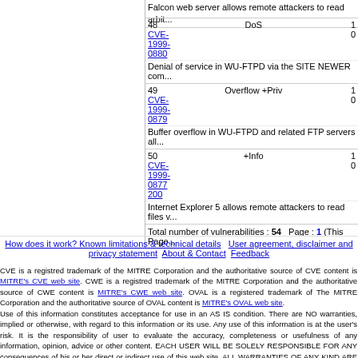Falcon web server allows remote attackers to read arbit...
| # | CVE | Type | Score |
| --- | --- | --- | --- |
| 48 | CVE-1999-0880 | DoS | 1
0 |
| 49 | CVE-1999-0879 | Overflow +Priv | 1
0 |
| 50 | CVE-1999-0877 200 | +Info | 1
0 |
Denial of service in WU-FTPD via the SITE NEWER com...
Buffer overflow in WU-FTPD and related FTP servers all...
Internet Explorer 5 allows remote attackers to read files v...
Total number of vulnerabilities : 54   Page : 1 (This Page...
How does it work? Known limitations & technical details   User agreement, disclaimer and privacy statement   About & Contact   Feedback
CVE is a registred trademark of the MITRE Corporation and the authoritative source of CVE content is MITRE's CVE web site. CWE is a registred trademark of the MITRE Corporation and the authoritative source of CWE content is MITRE's CWE web site. OVAL is a registered trademark of The MITRE Corporation and the authoritative source of OVAL content is MITRE's OVAL web site.
Use of this information constitutes acceptance for use in an AS IS condition. There are NO warranties, implied or otherwise, with regard to this information or its use. Any use of this information is at the user's risk. It is the responsibility of user to evaluate the accuracy, completeness or usefulness of any information, opinion, advice or other content. EACH USER WILL BE SOLELY RESPONSIBLE FOR ANY consequences of his or her direct or indirect use of this web site. ALL WARRANTIES OF ANY KIND ARE EXPRESSLY DISCLAIMED. This site will NOT BE LIABLE FOR ANY DIRECT, INDIRECT or any other kind of loss.